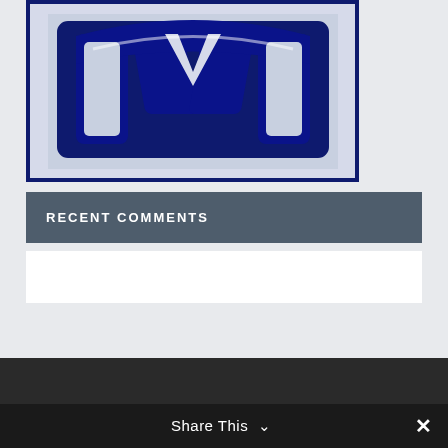[Figure (logo): Dark navy blue letter M logo inside a bordered rectangular box with light blue-grey background]
RECENT COMMENTS
CATEGORIES
Share This